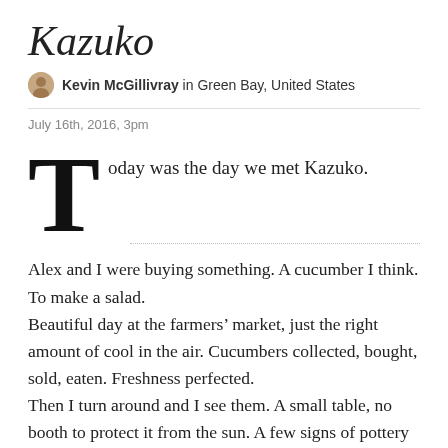Kazuko
Kevin McGillivray in Green Bay, United States
July 16th, 2016, 3pm
Today was the day we met Kazuko.
Alex and I were buying something. A cucumber I think. To make a salad.
Beautiful day at the farmers’ market, just the right amount of cool in the air. Cucumbers collected, bought, sold, eaten. Freshness perfected.
Then I turn around and I see them. A small table, no booth to protect it from the sun. A few signs of pottery or some d